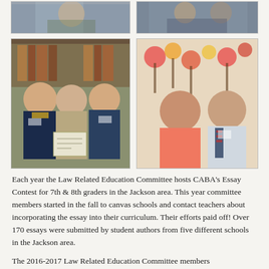[Figure (photo): Partial photo visible at top-left: people at an event]
[Figure (photo): Partial photo visible at top-right: people at an event]
[Figure (photo): Photo of three people in a library-like setting, one holding a certificate]
[Figure (photo): Photo of two people: a woman in a coral dress and a man in a suit with a striped tie]
Each year the Law Related Education Committee hosts CABA's Essay Contest for 7th & 8th graders in the Jackson area. This year committee members started in the fall to canvas schools and contact teachers about incorporating the essay into their curriculum. Their efforts paid off! Over 170 essays were submitted by student authors from five different schools in the Jackson area.
The 2016-2017 Law Related Education Committee members